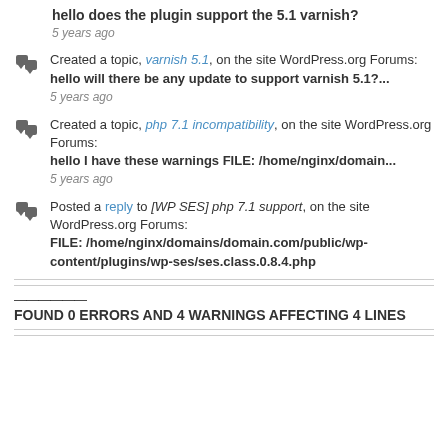hello does the plugin support the 5.1 varnish?
5 years ago
Created a topic, varnish 5.1, on the site WordPress.org Forums:
hello will there be any update to support varnish 5.1?...
5 years ago
Created a topic, php 7.1 incompatibility, on the site WordPress.org Forums:
hello I have these warnings FILE: /home/nginx/domain...
5 years ago
Posted a reply to [WP SES] php 7.1 support, on the site WordPress.org Forums:
FILE: /home/nginx/domains/domain.com/public/wp-content/plugins/wp-ses/ses.class.0.8.4.php
—————— FOUND 0 ERRORS AND 4 WARNINGS AFFECTING 4 LINES